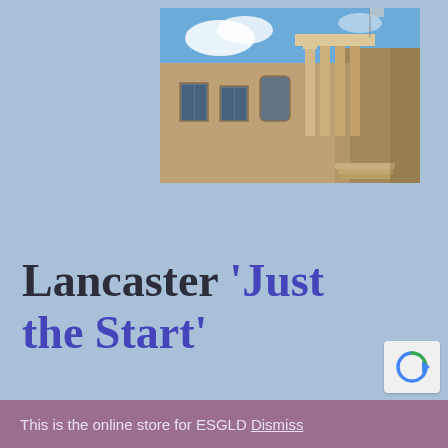[Figure (photo): Photograph of a large neoclassical stone building (Lancaster) shot from a low angle against a blue sky with clouds. The building features tall stone columns, large windows, and sandstone-colored walls.]
Lancaster 'Just the Start'
This is the online store for ESGLD Dismiss